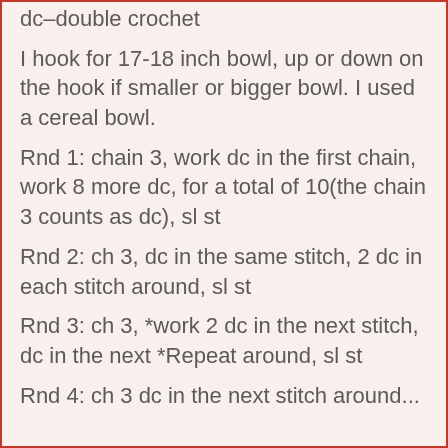dc–double crochet
I hook for 17-18 inch bowl, up or down on the hook if smaller or bigger bowl. I used a cereal bowl.
Rnd 1: chain 3, work dc in the first chain, work 8 more dc, for a total of 10(the chain 3 counts as dc), sl st
Rnd 2: ch 3, dc in the same stitch, 2 dc in each stitch around, sl st
Rnd 3: ch 3, *work 2 dc in the next stitch, dc in the next *Repeat around, sl st
Rnd 4: ch 3 dc in the next stitch around...